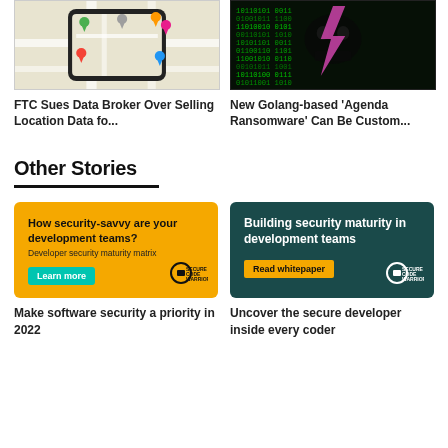[Figure (photo): Smartphone with colorful map location pins on a street map background]
[Figure (photo): Dark green digital hacker skull made of code characters with pink lightning bolt]
FTC Sues Data Broker Over Selling Location Data fo...
New Golang-based 'Agenda Ransomware' Can Be Custom...
Other Stories
[Figure (photo): Yellow advertisement banner: How security-savvy are your development teams? Developer security maturity matrix. Learn more. Secure Code Warrior logo.]
[Figure (photo): Teal advertisement banner: Building security maturity in development teams. Read whitepaper. Secure Code Warrior logo.]
Make software security a priority in 2022
Uncover the secure developer inside every coder